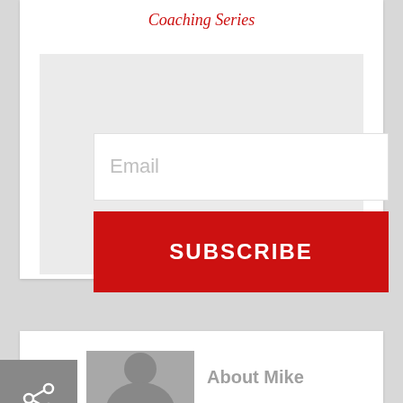Coaching Series
[Figure (screenshot): Email subscription form with an email input field and a red SUBSCRIBE button]
Email
SUBSCRIBE
About Mike